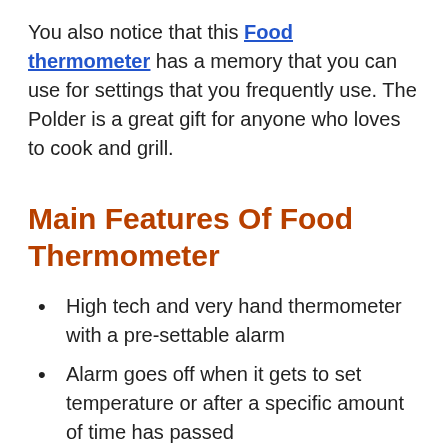You also notice that this Food thermometer has a memory that you can use for settings that you frequently use. The Polder is a great gift for anyone who loves to cook and grill.
Main Features Of Food Thermometer
High tech and very hand thermometer with a pre-settable alarm
Alarm goes off when it gets to set temperature or after a specific amount of time has passed
Has a long probe wire that measures forty-three inches